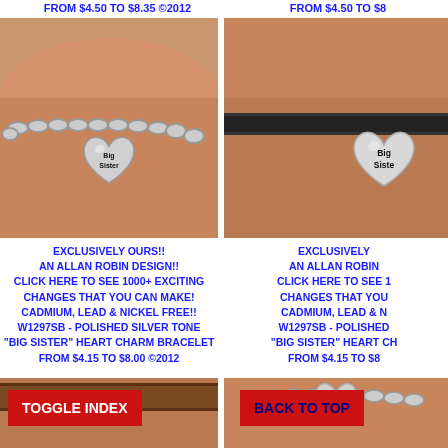FROM $4.50 TO $8.35 ©2012
FROM $4.50 TO $8
[Figure (photo): Close-up of a silver chain bracelet on a wrist with a Big Sister heart charm]
[Figure (photo): Close-up of a black suede bracelet on a wrist with a Big Sister heart charm, partially cropped]
EXCLUSIVELY OURS!!
AN ALLAN ROBIN DESIGN!!
CLICK HERE TO SEE 1000+ EXCITING
CHANGES THAT YOU CAN MAKE!
CADMIUM, LEAD & NICKEL FREE!!
W1297SB - POLISHED SILVER TONE
"BIG SISTER" HEART CHARM BRACELET
FROM $4.15 TO $8.00 ©2012
EXCLUSIVELY
AN ALLAN ROBIN
CLICK HERE TO SEE 1
CHANGES THAT YOU
CADMIUM, LEAD & N
W1297SB - POLISHED
"BIG SISTER" HEART CH
FROM $4.15 TO $8
[Figure (photo): Bottom portion of a brown leather bracelet on a wrist with a Big Sister charm, partially cropped]
[Figure (photo): Bottom portion of a silver chain bracelet on a wrist with a Big Sister charm, partially cropped]
TOGGLE INDEX
BACK TO TOP